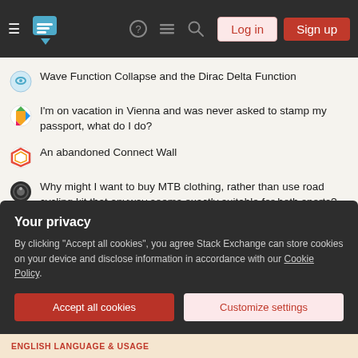Stack Exchange navigation bar with Log in and Sign up buttons
Wave Function Collapse and the Dirac Delta Function
I'm on vacation in Vienna and was never asked to stamp my passport, what do I do?
An abandoned Connect Wall
Why might I want to buy MTB clothing, rather than use road cycling kit that anyway seems exactly suitable for both sports?
How To Get Balance in a Program
Is there any way to transfer a private key to another people?
What is the name of this concept involving hashes?
When was the study of automorphic (and in particular modular) forms
Your privacy
By clicking "Accept all cookies", you agree Stack Exchange can store cookies on your device and disclose information in accordance with our Cookie Policy.
ENGLISH LANGUAGE & USAGE